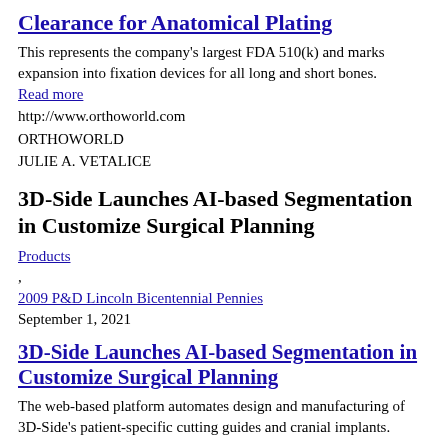Clearance for Anatomical Plating
This represents the company's largest FDA 510(k) and marks expansion into fixation devices for all long and short bones.
Read more
http://www.orthoworld.com
ORTHOWORLD
JULIE A. VETALICE
3D-Side Launches AI-based Segmentation in Customize Surgical Planning
Products
,
2009 P&D Lincoln Bicentennial Pennies
September 1, 2021
3D-Side Launches AI-based Segmentation in Customize Surgical Planning
The web-based platform automates design and manufacturing of 3D-Side's patient-specific cutting guides and cranial implants.